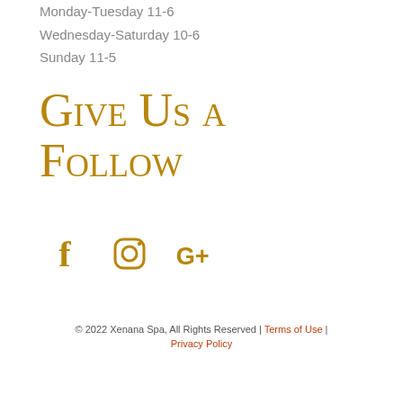Monday-Tuesday 11-6
Wednesday-Saturday 10-6
Sunday 11-5
Give Us a Follow
[Figure (illustration): Social media icons: Facebook (f), Instagram (camera/circle), Google+ (G+) in gold/amber color]
© 2022 Xenana Spa, All Rights Reserved | Terms of Use | Privacy Policy